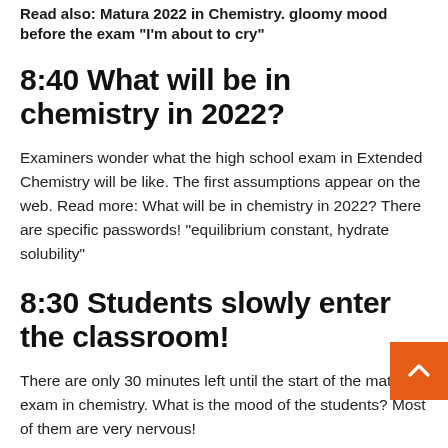Read also: Matura 2022 in Chemistry. gloomy mood before the exam “I’m about to cry”
8:40 What will be in chemistry in 2022?
Examiners wonder what the high school exam in Extended Chemistry will be like. The first assumptions appear on the web. Read more: What will be in chemistry in 2022? There are specific passwords! “equilibrium constant, hydrate solubility”
8:30 Students slowly enter the classroom!
There are only 30 minutes left until the start of the matura exam in chemistry. What is the mood of the students? Most of them are very nervous!